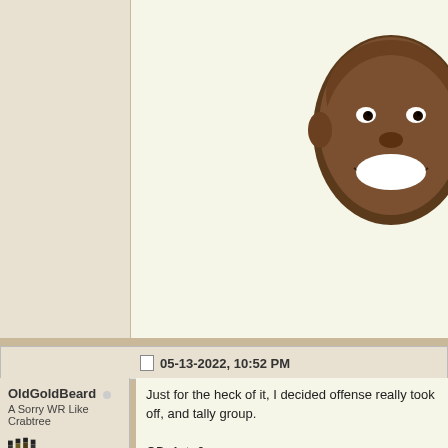[Figure (photo): Smiling man's face/head cutout on light background, partially cropped at top of page]
05-13-2022, 10:52 PM
OldGoldBeard
A Sorry WR Like Crabtree
Join Date: Mar 2011
Posts: 4,367
Just for the heck of it, I decided offense really took off, and tally group.

QB: 1st- 0
2nd- 2 (Wolford '17, Hartman '2
3rd- 0

RB: 1st- 0
2nd- 0
3rd- 0

WR/TE: 1st- 4 (Serigne '17, Dor
2nd- 3 (Dortch '17 as AP, Rober
3rd- 1 (Hinton '19,

OL: 1st- 1 (Tom '21)
2nd- 2 (R. Anderson '17, P. Hay